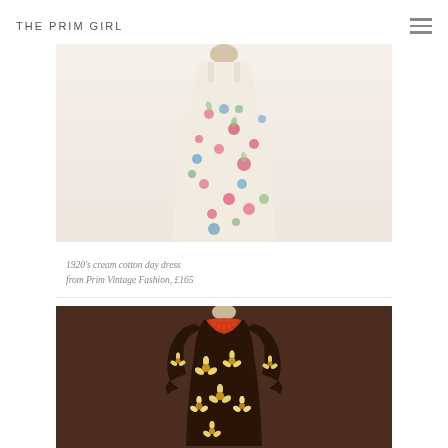THE PRIM GIRL
[Figure (photo): 1920s cream cotton day dress with colorful floral/dot print on a mannequin, displayed on white background]
1920's cream cotton day dress from Prim Vintage Fashion, £165
[Figure (photo): Dark brown floral print dress with yellow and white flowers and red collar trim, displayed on a mannequin]